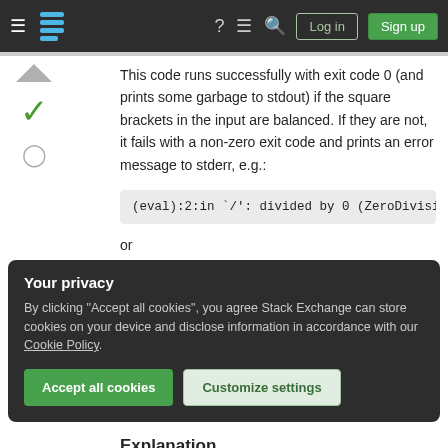Stack Exchange navigation bar with Log in and Sign up buttons
This code runs successfully with exit code 0 (and prints some garbage to stdout) if the square brackets in the input are balanced. If they are not, it fails with a non-zero exit code and prints an error message to stderr, e.g.:
or
Your privacy
By clicking "Accept all cookies", you agree Stack Exchange can store cookies on your device and disclose information in accordance with our Cookie Policy.
Explanation